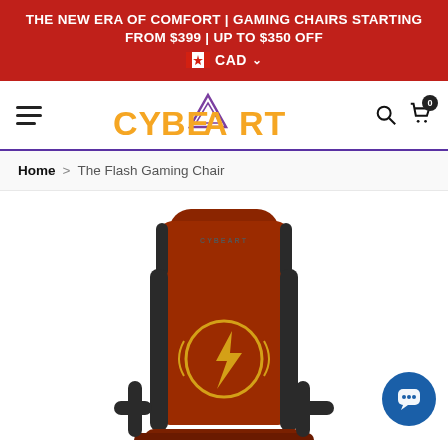THE NEW ERA OF COMFORT | GAMING CHAIRS STARTING FROM $399 | UP TO $350 OFF  CAD
[Figure (logo): CYBEART logo with orange text and purple triangle icon]
Home > The Flash Gaming Chair
[Figure (photo): The Flash Gaming Chair - red and black gaming chair with gold Flash lightning bolt logo on the backrest]